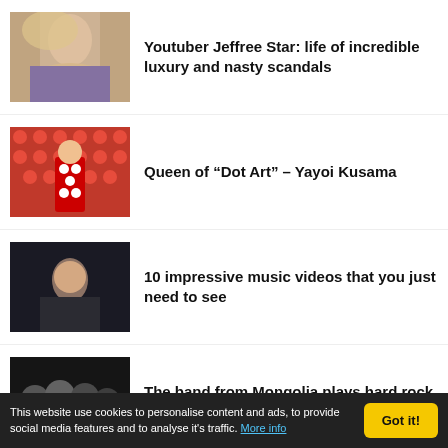[Figure (photo): Thumbnail photo of Jeffree Star, a blonde influencer]
Youtuber Jeffree Star: life of incredible luxury and nasty scandals
[Figure (photo): Thumbnail photo of Yayoi Kusama in red polka dot outfit surrounded by red dot art]
Queen of “Dot Art” – Yayoi Kusama
[Figure (photo): Thumbnail of a woman in a dark scene for a music video]
10 impressive music videos that you just need to see
[Figure (photo): Thumbnail of a band group photo]
The band from Mongolia plays hard rock with traditional instruments
[Figure (photo): Partial thumbnail of Japanese artist]
The Japanese artist Shu San creates
This website use cookies to personalise content and ads, to provide social media features and to analyse it's traffic. More info  Got it!